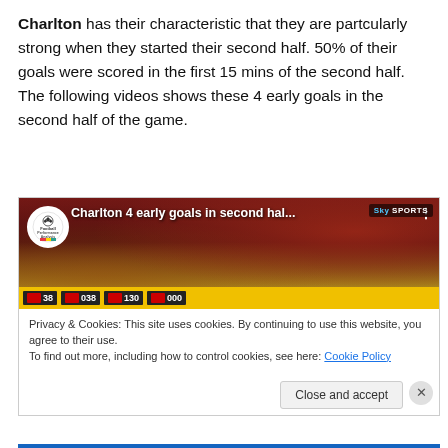Charlton has their characteristic that they are partcularly strong when they started their second half. 50% of their goals were scored in the first 15 mins of the second half. The following videos shows these 4 early goals in the second half of the game.
[Figure (screenshot): Embedded YouTube video thumbnail showing 'Charlton 4 early goals in second hal...' from Football Performance Analysis channel, with a scoreboard bar at the bottom and a cookie consent notice overlay below with a 'Close and accept' button.]